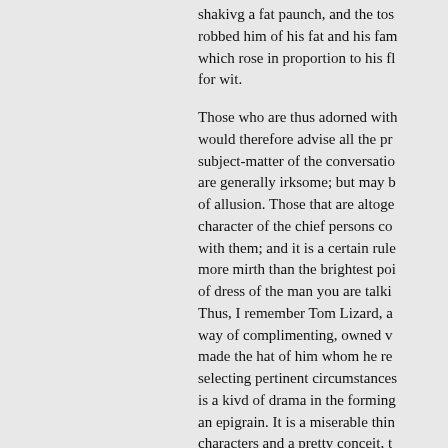shakivg a fat paunch, and the tos robbed him of his fat and his fam which rose in proportion to his fl for wit.
Those who are thus adorned with would therefore advise all the pr subject-matter of the conversatio are generally irksome; but may b of allusion. Those that are altoge character of the chief persons co with them; and it is a certain rule more mirth than the brightest poi of dress of the man you are talki Thus, I remember Tom Lizard, a way of complimenting, owned v made the hat of him whom he re selecting pertinent circumstances is a kivd of drama in the forming an epigrain. It is a miserable thin characters and a pretty conceit, t story-teller to end bis relation by
Story of Unnion and Valentine
company commauded by Captai